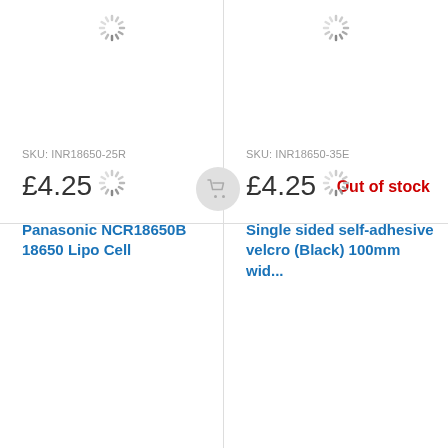[Figure (other): Loading spinner top-left cell]
SKU: INR18650-25R
£4.25
Panasonic NCR18650B 18650 Lipo Cell
[Figure (other): Loading spinner bottom-left cell]
[Figure (other): Loading spinner top-right cell]
SKU: INR18650-35E
£4.25
Out of stock
Single sided self-adhesive velcro (Black) 100mm wid...
[Figure (other): Loading spinner bottom-right cell]